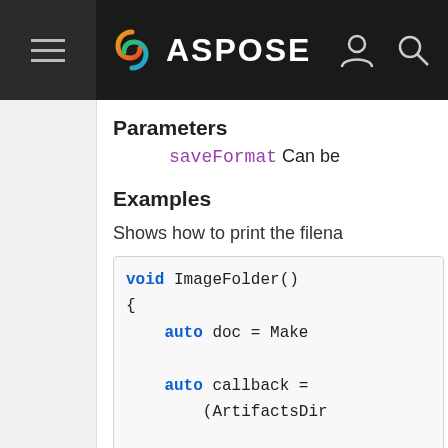ASPOSE (navigation bar with logo)
Parameters
saveFormat Can be
Examples
Shows how to print the filena
void ImageFolder()
{
    auto doc = Make

    auto callback =
        (ArtifactsDir

    // Create a "Xa
        document's "Sa
    // to modify ho
    auto options =

    ASSERT_EQ(SaveF